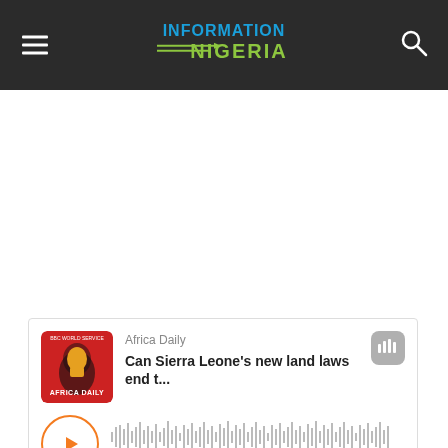INFORMATION NIGERIA
[Figure (screenshot): Audio podcast player widget. Africa Daily podcast thumbnail (red background with Africa map and fist icon, BBC World Service). Title: 'Can Sierra Leone's new land laws end t...'. Play button (orange circle with triangle). Waveform visualization. Time: 00:00 / --:--. Playlist footer with share, bookmark, and info icons.]